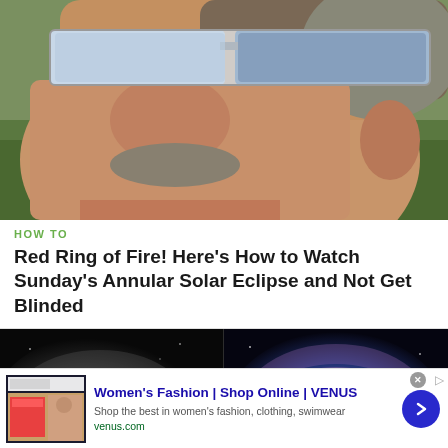[Figure (photo): Close-up photo of a man looking up at the sky wearing solar eclipse viewing glasses with blue and silver frame]
HOW TO
Red Ring of Fire! Here's How to Watch Sunday's Annular Solar Eclipse and Not Get Blinded
[Figure (photo): Side-by-side comparison of a spiral galaxy - left image in black and white, right image in color showing blue and pink hues]
Women's Fashion | Shop Online | VENUS
Shop the best in women's fashion, clothing, swimwear
venus.com